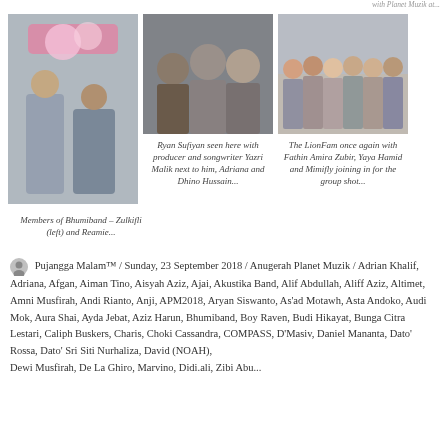with Planet Muzik at...
[Figure (photo): Two male members of Bhumiband (Zulkifli left and Reamie) posing in front of Planet Muzik banner]
Members of Bhumiband – Zulkifli (left) and Reamie...
[Figure (photo): Ryan Sufiyan seen with producer and songwriter Yazri Malik next to him, Adriana and Dhino Hussain]
Ryan Sufiyan seen here with producer and songwriter Yazri Malik next to him, Adriana and Dhino Hussain...
[Figure (photo): The LionFam group photo with Fathin Amira Zubir, Yaya Hamid and Mimifly]
The LionFam once again with Fathin Amira Zubir, Yaya Hamid and Mimifly joining in for the group shot...
Pujangga Malam™ / Sunday, 23 September 2018 / Anugerah Planet Muzik / Adrian Khalif, Adriana, Afgan, Aiman Tino, Aisyah Aziz, Ajai, Akustika Band, Alif Abdullah, Aliff Aziz, Altimet, Amni Musfirah, Andi Rianto, Anji, APM2018, Aryan Siswanto, As'ad Motawh, Asta Andoko, Audi Mok, Aura Shai, Ayda Jebat, Aziz Harun, Bhumiband, Boy Raven, Budi Hikayat, Bunga Citra Lestari, Caliph Buskers, Charis, Choki Cassandra, COMPASS, D'Masiv, Daniel Mananta, Dato' Rossa, Dato' Sri Siti Nurhaliza, David (NOAH), Dewi Musfirah, De La Ghiro, Marvino, Didi.ali, Zibi Abu...